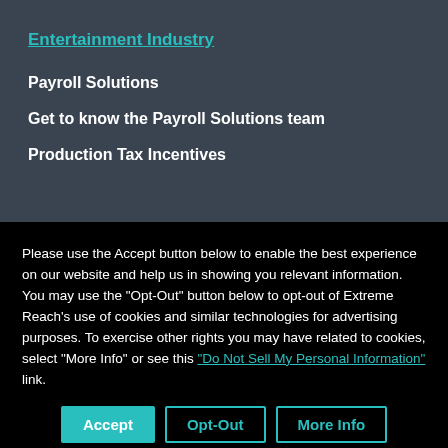Entertainment Industry
Payroll Solutions
Get to know the Payroll Solutions team
Production Tax Incentives
Please use the Accept button below to enable the best experience on our website and help us in showing you relevant information. You may use the "Opt-Out" button below to opt-out of Extreme Reach's use of cookies and similar technologies for advertising purposes. To exercise other rights you may have related to cookies, select "More Info" or see this "Do Not Sell My Personal Information" link.
Accept | Opt-Out | More Info